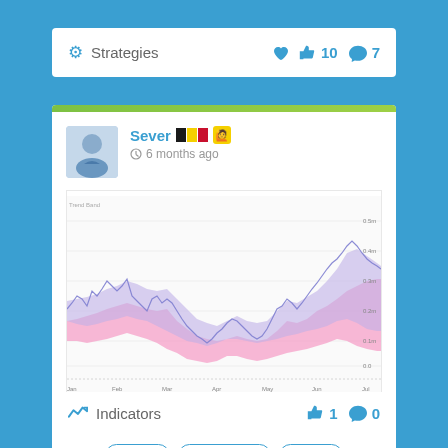Strategies
👍 10  💬 7
Sever 🇧🇪 🙋 — 6 months ago
[Figure (continuous-plot): Trend Band Indicator chart showing a pink band and blue/purple band with a spiky line overlay, covering approximately Jan–Jul period. The bands show a wave pattern with a sharp rise at the end.]
Trend Band Indicator
#Band  #smoothed  #trend
Indicators
👍 1  💬 0